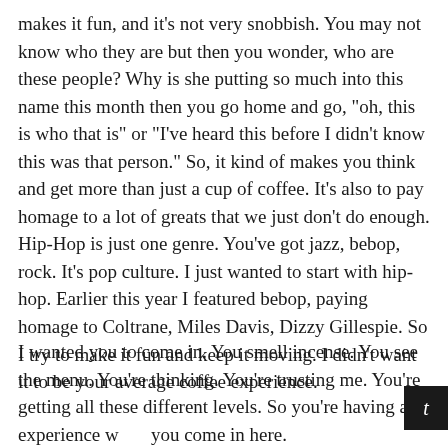makes it fun, and it's not very snobbish. You may not know who they are but then you wonder, who are these people? Why is she putting so much into this name this month then you go home and go, "oh, this is who that is" or "I've heard this before I didn't know this was that person." So, it kind of makes you think and get more than just a cup of coffee. It's also to pay homage to a lot of greats that we just don't do enough. Hip-Hop is just one genre. You've got jazz, bebop, rock. It's pop culture. I just wanted to start with hip-hop. Earlier this year I featured bebop, paying homage to Coltrane, Miles Davis, Dizzy Gillespie. So I try to make it fun and keep it moving. I didn't want it to be your average coffee experience.
I wanted you to come in. You smell incense. You see the menu. You're thinking. You're trusting me. You're getting all these different levels. So you're having an experience when you come in here.